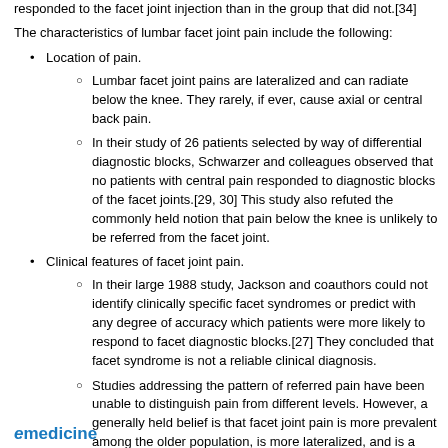responded to the facet joint injection than in the group that did not.[34]
The characteristics of lumbar facet joint pain include the following:
Location of pain.
Lumbar facet joint pains are lateralized and can radiate below the knee. They rarely, if ever, cause axial or central back pain.
In their study of 26 patients selected by way of differential diagnostic blocks, Schwarzer and colleagues observed that no patients with central pain responded to diagnostic blocks of the facet joints.[29, 30] This study also refuted the commonly held notion that pain below the knee is unlikely to be referred from the facet joint.
Clinical features of facet joint pain.
In their large 1988 study, Jackson and coauthors could not identify clinically specific facet syndromes or predict with any degree of accuracy which patients were more likely to respond to facet diagnostic blocks.[27] They concluded that facet syndrome is not a reliable clinical diagnosis.
Studies addressing the pattern of referred pain have been unable to distinguish pain from different levels. However, a generally held belief is that facet joint pain is more prevalent among the older population, is more lateralized, and is a more likely diagnosis when radiographic findings show severe facet arthritis.
emedicine